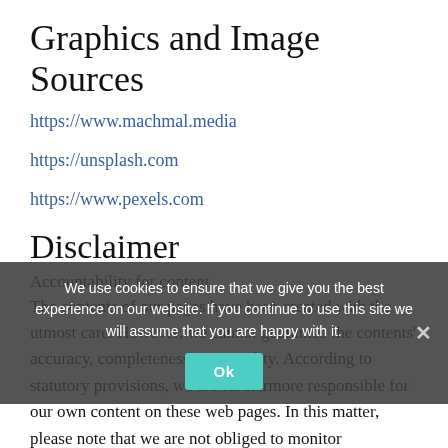Graphics and Image Sources
https://www.machmal.media
https://unsplash.com
https://www.pexels.com
Disclaimer
Accountability for content
The contents of our pages have been created with the utmost care. However, we cannot guarantee the contents' accuracy, completeness or topicality. According to statutory provisions, we are furthermore responsible for our own content on these web pages. In this matter, please note that we are not obliged to monitor transmitted or saved information of third parties, or investigate circumstances
We use cookies to ensure that we give you the best experience on our website. If you continue to use this site we will assume that you are happy with it.